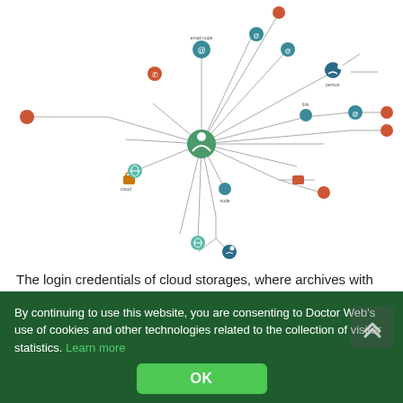[Figure (network-graph): Network/link analysis graph showing interconnected nodes with icons (people, email, phone, lock, globe symbols) connected by arrows, centered around a main green person icon node in the middle of the diagram.]
The login credentials of cloud storages, where archives with stolen files go, are wired into the Trojans' bodies. It allows them to easily identify all clients of "Yenot Pogromist" who bought malicious software from him. They are primarily citizens of Russia and
By continuing to use this website, you are consenting to Doctor Web's use of cookies and other technologies related to the collection of visitor statistics. Learn more
OK